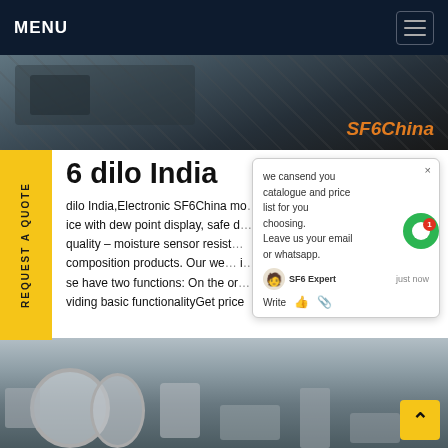MENU
[Figure (photo): Industrial SF6 equipment photo with SF6China watermark in orange]
6 dilo India
dilo India,Electronic SF6China mo... uring ice with dew point display, safe d... sf quality – moisture sensor resist... composition products. Our we... i... ies. se have two functions: On the or... / are viding basic functionalityGet price
[Figure (screenshot): Chat popup overlay: we cansend you catalogue and price list for you choosing. Leave us your email or whatsapp. SF6 Expert just now. Write.]
[Figure (photo): Industrial SF6 gas handling machinery/equipment photo, outdoor setting]